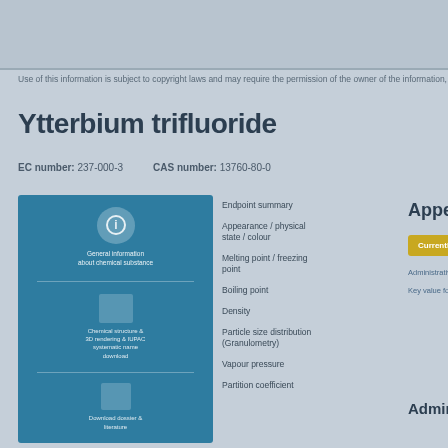Use of this information is subject to copyright laws and may require the permission...
Ytterbium trifluoride
EC number: 237-000-3   CAS number: 13760-80-0
[Figure (infographic): Blue information panel with icons for chemical data, structure viewer, and literature links]
Endpoint summary
Appearance / physical state / colour
Melting point / freezing point
Boiling point
Density
Particle size distribution (Granulometry)
Vapour pressure
Partition coefficient
Appearance
Currently unavailable
Administrative data
Key value for chemical
Administrative